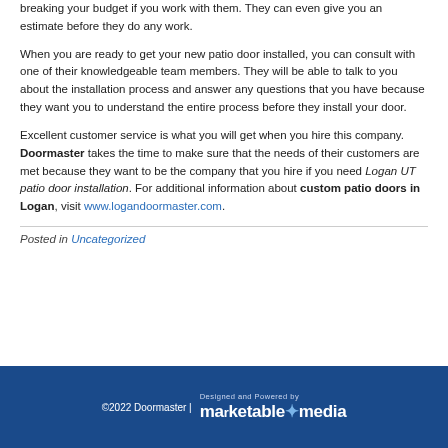breaking your budget if you work with them. They can even give you an estimate before they do any work.
When you are ready to get your new patio door installed, you can consult with one of their knowledgeable team members. They will be able to talk to you about the installation process and answer any questions that you have because they want you to understand the entire process before they install your door.
Excellent customer service is what you will get when you hire this company. Doormaster takes the time to make sure that the needs of their customers are met because they want to be the company that you hire if you need Logan UT patio door installation. For additional information about custom patio doors in Logan, visit www.logandoormaster.com.
Posted in Uncategorized
©2022 Doormaster | Designed and Powered by marketable*media